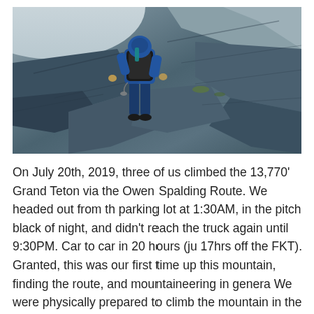[Figure (photo): A mountaineer in a blue jacket and dark pants with a backpack climbing rocky terrain on the Grand Teton. The climber is seen from behind, scrambling up steep grey rock slabs. The sky is light grey/white in the upper left corner.]
On July 20th, 2019, three of us climbed the 13,770' Grand Teton via the Owen Spalding Route. We headed out from th parking lot at 1:30AM, in the pitch black of night, and didn't reach the truck again until 9:30PM. Car to car in 20 hours (ju 17hrs off the FKT). Granted, this was our first time up this mountain, finding the route, and mountaineering in genera We were physically prepared to climb the mountain in the